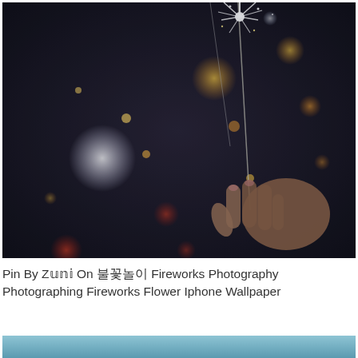[Figure (photo): A hand holding a sparkler against a dark background. The sparkler emits bright star-shaped sparks at the top. Colorful bokeh circles of orange, yellow, white, and red light float in the dark background, creating a festive fireworks atmosphere.]
Pin By Z𝕦𝕟𝕚 On 불꽃놀이 Fireworks Photography Photographing Fireworks Flower Iphone Wallpaper
[Figure (photo): Partial view of a second image at the bottom of the page showing a teal/blue-grey tone, likely another photography related image.]